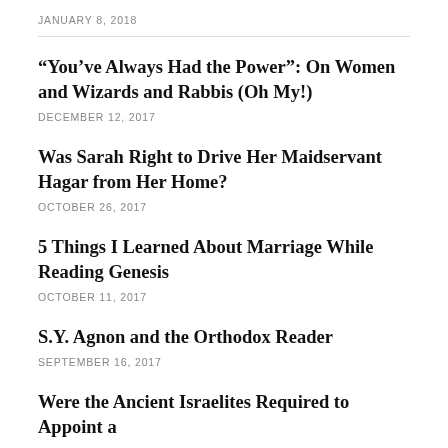JANUARY 8, 2018
“You’ve Always Had the Power”: On Women and Wizards and Rabbis (Oh My!)
DECEMBER 12, 2017
Was Sarah Right to Drive Her Maidservant Hagar from Her Home?
OCTOBER 26, 2017
5 Things I Learned About Marriage While Reading Genesis
OCTOBER 11, 2017
S.Y. Agnon and the Orthodox Reader
SEPTEMBER 16, 2017
Were the Ancient Israelites Required to Appoint a